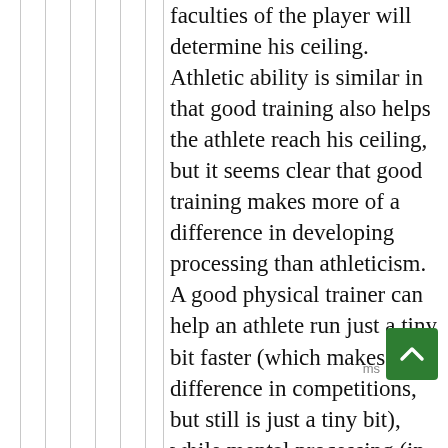faculties of the player will determine his ceiling. Athletic ability is similar in that good training also helps the athlete reach his ceiling, but it seems clear that good training makes more of a difference in developing processing than athleticism. A good physical trainer can help an athlete run just a tiny bit faster (which makes a big difference in competitions, but still is just a tiny bit), while mental processing (in general, not just football) can change dramatically when going from an average trainer/teacher/coach to a very